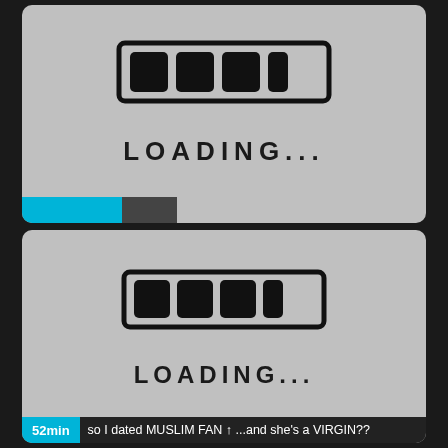[Figure (illustration): Two stacked social media video thumbnails, each showing a hand-drawn loading bar with four filled segments and the text 'LOADING...' on a gray background. The top thumbnail has a cyan and dark gray progress bar at the bottom-left. The bottom thumbnail has an overlay bar reading '52min' in cyan and 'so I dated MUSLIM FAN ↑ ...and she's a VIRGIN??' in dark gray.]